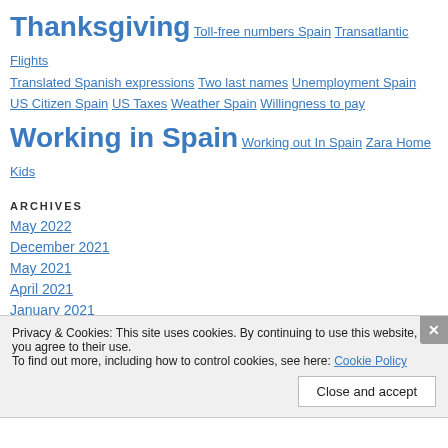Thanksgiving Toll-free numbers Spain Transatlantic Flights Translated Spanish expressions Two last names Unemployment Spain US Citizen Spain US Taxes Weather Spain Willingness to pay Working in Spain Working out In Spain Zara Home Kids
ARCHIVES
May 2022
December 2021
May 2021
April 2021
January 2021
December 2020
Privacy & Cookies: This site uses cookies. By continuing to use this website, you agree to their use. To find out more, including how to control cookies, see here: Cookie Policy
Close and accept